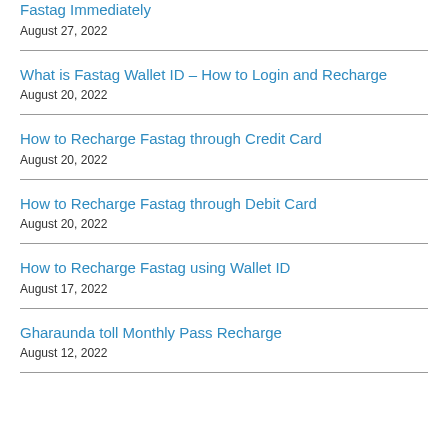Fastag Immediately
August 27, 2022
What is Fastag Wallet ID – How to Login and Recharge
August 20, 2022
How to Recharge Fastag through Credit Card
August 20, 2022
How to Recharge Fastag through Debit Card
August 20, 2022
How to Recharge Fastag using Wallet ID
August 17, 2022
Gharaunda toll Monthly Pass Recharge
August 12, 2022